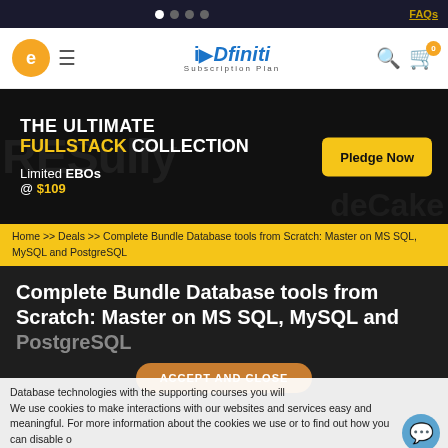FAQs
[Figure (logo): Educative platform logo and iDafiniti Subscription Plan header navigation with search and cart icons]
[Figure (infographic): Dark banner: THE ULTIMATE FULLSTACK COLLECTION, Limited EBOs @ $109, Pledge Now button]
Home >> Deals >> Complete Bundle Database tools from Scratch: Master on MS SQL, MySQL and PostgreSQL
Complete Bundle Database tools from Scratch: Master on MS SQL, MySQL and PostgreSQL
ACCEPT AND CLOSE
We use cookies to make interactions with our websites and services easy and meaningful. For more information about the cookies we use or to find out how you can disable our cookies Click Here.